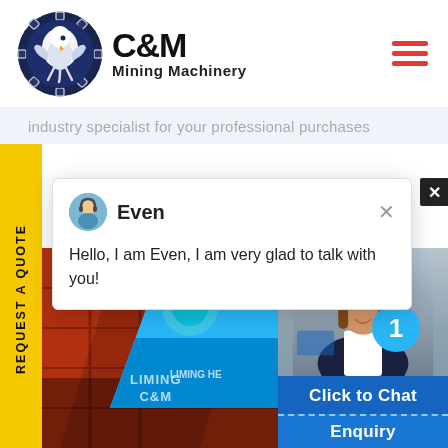[Figure (logo): C&M Mining Machinery logo with eagle/gear icon in navy blue circle, bold C&M text and Mining Machinery subtitle]
industry specialist for your professional purchases
REQUEST A QUOTE
Even
Hello, I am Even, I am very glad to talk with you!
[Figure (photo): Mining machinery in red/orange color on left, blue water/machinery in center, woman with headset on right with cyan badge showing number 1]
Click to Chat
Enquiry